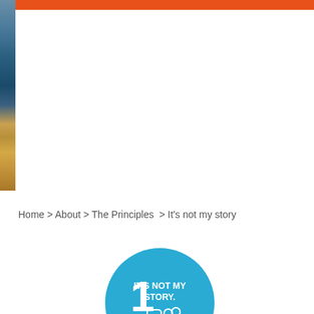Home > About > The Principles > It's not my story
[Figure (infographic): Blue circle badge with large number 1 and text IT'S NOT MY STORY. with two person/chat icons below]